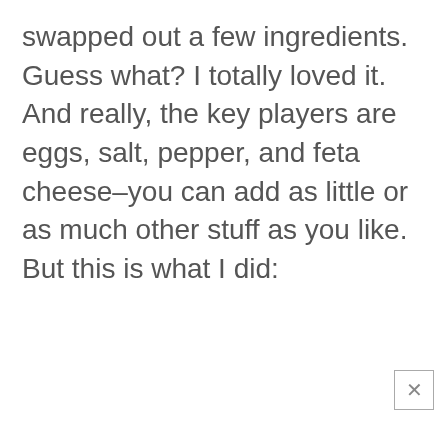swapped out a few ingredients. Guess what? I totally loved it. And really, the key players are eggs, salt, pepper, and feta cheese–you can add as little or as much other stuff as you like. But this is what I did: